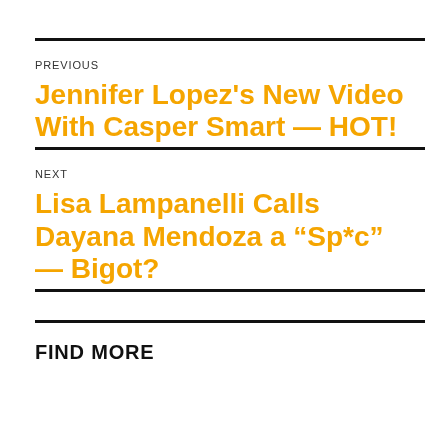PREVIOUS
Jennifer Lopez's New Video With Casper Smart — HOT!
NEXT
Lisa Lampanelli Calls Dayana Mendoza a “Sp*c” — Bigot?
FIND MORE